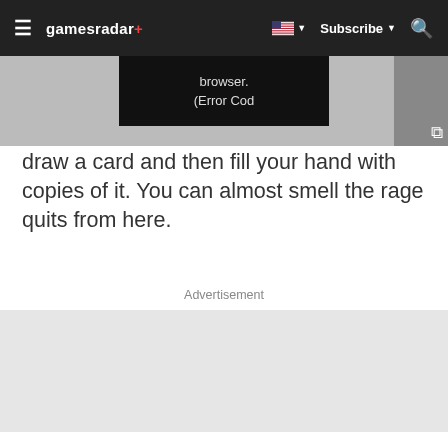≡ gamesradar+ | [US flag] ▼ Subscribe ▼ 🔍
[Figure (screenshot): Video player area showing an error overlay with text 'browser. (Error Cod' on a dark background, with an expand icon on the right]
draw a card and then fill your hand with copies of it. You can almost smell the rage quits from here.
Advertisement